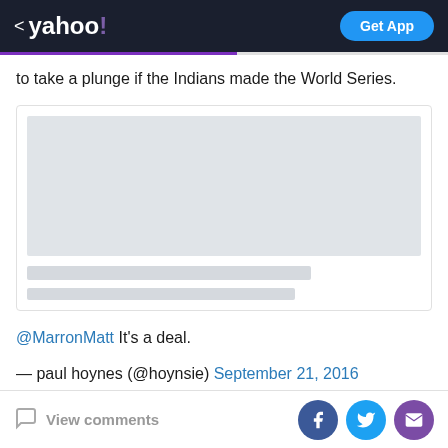< yahoo! | Get App
to take a plunge if the Indians made the World Series.
[Figure (screenshot): Embedded content card with a gray image placeholder and two gray text placeholder bars below it]
@MarronMatt It's a deal.
— paul hoynes (@hoynsie) September 21, 2016
View comments | Facebook share | Twitter share | Email share